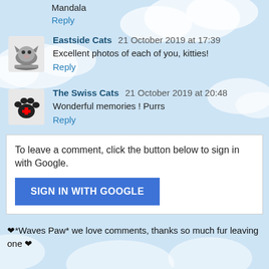Mandala
Reply
Eastside Cats  21 October 2019 at 17:39
Excellent photos of each of you, kitties!
Reply
The Swiss Cats  21 October 2019 at 20:48
Wonderful memories ! Purrs
Reply
To leave a comment, click the button below to sign in with Google.
SIGN IN WITH GOOGLE
❤*Waves Paw* we love comments, thanks so much fur leaving one ❤